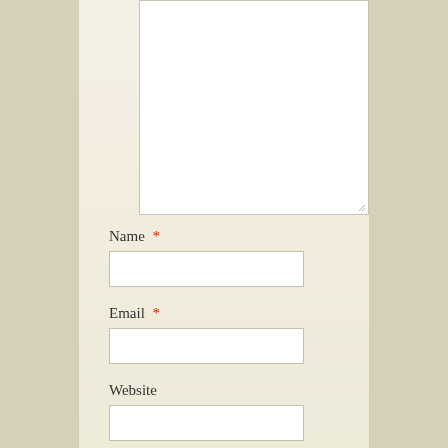[Figure (screenshot): A web comment form partial screenshot showing a textarea (empty, white), followed by form fields for Name (required), Email (required), Website, and a Save my name checkbox row, on a beige/cream background.]
Name *
Email *
Website
Save my name, email, and